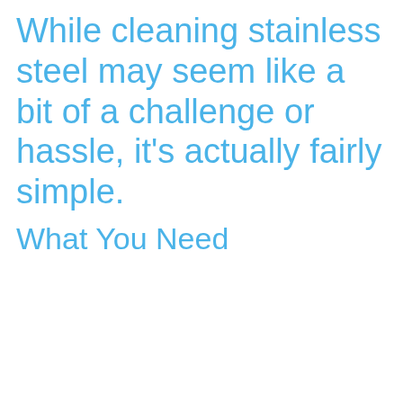While cleaning stainless steel may seem like a bit of a challenge or hassle, it’s actually fairly simple.
What You Need
1. Cleaning cloths: The best option is microfiber cleaning cloths because they are ultra-absorbent and won’t streak or leave smudges on glass. You want to avoid opt to use. Important: Avoid a load of laundry that gets a dose of fabric softener, as those compounds can coat the fabric and absorb liquids.
2. A cleaner: There are specialized cleaners for stainless steel that leave it with a bright shine. If you don’t have any on hand or try not to use chemicals in your home, there are other common alternatives, including dish soap, white vinegar, and glass cleaner.
We use cookies to offer you a better browsing experience, analyze site traffic, personalize content, and serve targeted advertisements. Read about how we use cookies and how you can control them by clicking "Privacy Preferences". If you continue to use this site, you consent to our use of cookies.
How we use cookies
Privacy Preferences
I Agree